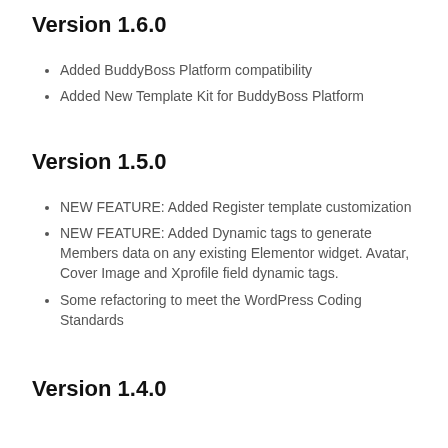Version 1.6.0
Added BuddyBoss Platform compatibility
Added New Template Kit for BuddyBoss Platform
Version 1.5.0
NEW FEATURE: Added Register template customization
NEW FEATURE: Added Dynamic tags to generate Members data on any existing Elementor widget. Avatar, Cover Image and Xprofile field dynamic tags.
Some refactoring to meet the WordPress Coding Standards
Version 1.4.0